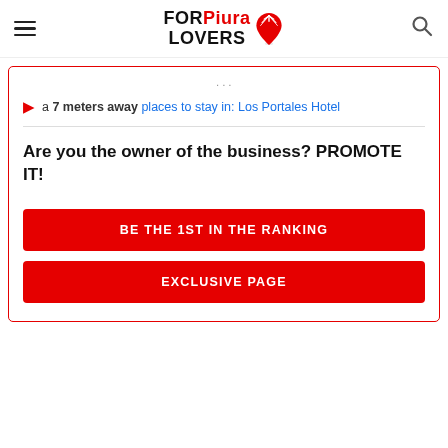FORPiura LOVERS
a 7 meters away places to stay in: Los Portales Hotel
Are you the owner of the business? PROMOTE IT!
BE THE 1ST IN THE RANKING
EXCLUSIVE PAGE